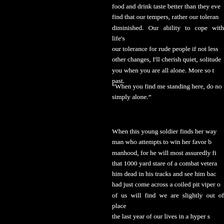food and drink taste better than they eve find that our tempers, rather our toleran diminished. Our ability to cope with life's our tolerance for rude people if not less other changes, I'll cherish quiet, solitude you when you are all alone. More so t past.
“When you find me standing here, do no simply alone.”
When this young soldier finds her way man who attempts to win her favor b manhood, for he will most assuredly fi that 1000 yard stare of a combat vetera him dead in his tracks and see him bac had just come across a coiled pit viper o of us will find we are slightly out of place the last year of our lives in a hyper s place, we have been running in the red all at once when we are home and saf